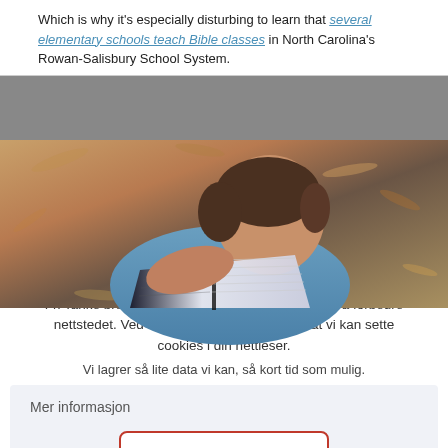Which is why it's especially disturbing to learn that several elementary schools teach Bible classes in North Carolina's Rowan-Salisbury School System.
[Figure (photo): A child reading an open book (Bible), lying on wood chips outdoors, wearing a blue shirt.]
Vi tar ditt personvern på alvor
Fri Tanke bruker cookies (informasjonskapsler) til å forbedre nettstedet. Ved å godkjenne aksepterer du at vi kan sette cookies i din nettleser.
Vi lagrer så lite data vi kan, så kort tid som mulig.
Mer informasjon
GODKJENN